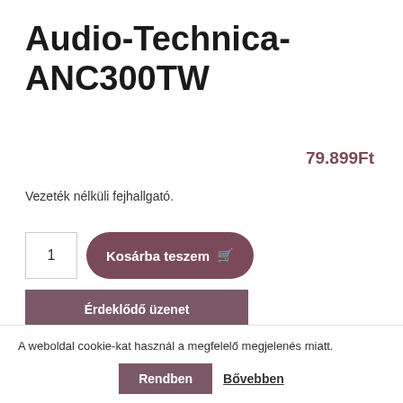Audio-Technica-ANC300TW
79.899Ft
Vezeték nélküli fejhallgató.
1
Kosárba teszem
Érdeklődő üzenet
Kedvencekhez
A weboldal cookie-kat használ a megfelelő megjelenés miatt.
Rendben
Bővebben